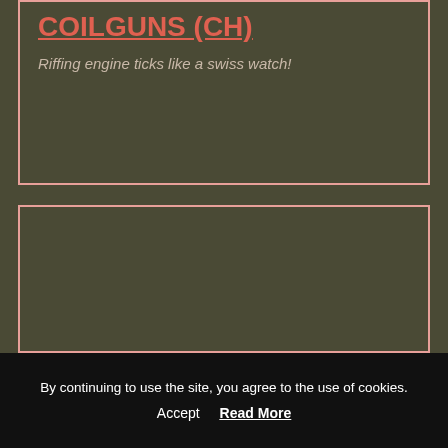COILGUNS (CH)
Riffing engine ticks like a swiss watch!
[Figure (other): Empty bordered card area, olive/khaki background with pink border]
By continuing to use the site, you agree to the use of cookies.
Accept   Read More